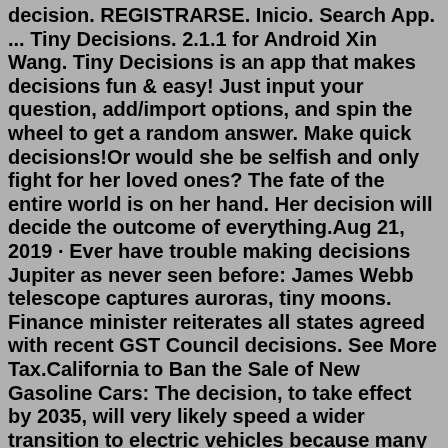decision. REGISTRARSE. Inicio. Search App. ... Tiny Decisions. 2.1.1 for Android Xin Wang. Tiny Decisions is an app that makes decisions fun & easy! Just input your question, add/import options, and spin the wheel to get a random answer. Make quick decisions!Or would she be selfish and only fight for her loved ones? The fate of the entire world is on her hand. Her decision will decide the outcome of everything.Aug 21, 2019 · Ever have trouble making decisions Jupiter as never seen before: James Webb telescope captures auroras, tiny moons. Finance minister reiterates all states agreed with recent GST Council decisions. See More Tax.California to Ban the Sale of New Gasoline Cars: The decision, to take effect by 2035, will very likely speed a wider transition to electric vehicles because many other states follow California's standards.Decide in a fun way! FEATURES: - Create custom wheels - Share your wheels with friends - Use your photos on a wheel - Set option weight 1...100 - Tap segment to disable it - Spin the wheel with your fingers - Playoff mode (non-repeating mode) - Share